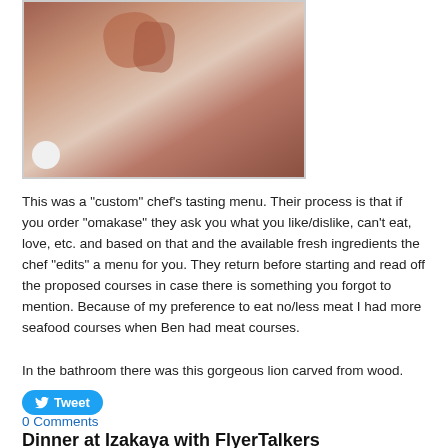[Figure (photo): A wooden carved lion sculpture, photographed against a light background. A white circular element is visible at the lower left corner.]
This was a "custom" chef's tasting menu.  Their process is that if you order "omakase" they ask you what you like/dislike, can't eat, love, etc. and based on that and the available fresh ingredients the chef "edits" a menu for you.  They return before starting and read off the proposed courses in case there is something you forgot to mention.  Because of my preference to eat no/less meat I had more seafood courses when Ben had meat courses.
In the bathroom there was this gorgeous lion carved from wood.
Tweet
0 Comments
Dinner at Izakaya with FlyerTalkers